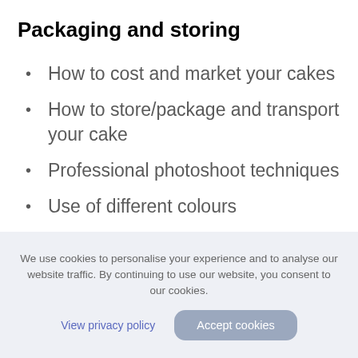Packaging and storing
How to cost and market your cakes
How to store/package and transport your cake
Professional photoshoot techniques
Use of different colours
We use cookies to personalise your experience and to analyse our website traffic. By continuing to use our website, you consent to our cookies.